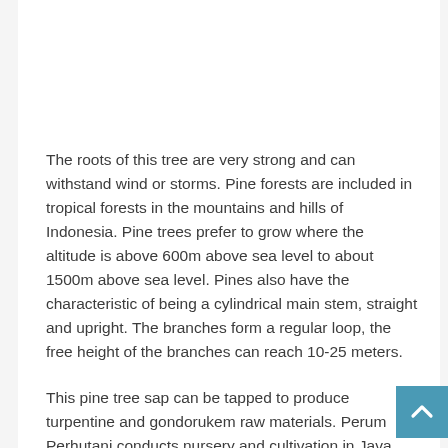The roots of this tree are very strong and can withstand wind or storms. Pine forests are included in tropical forests in the mountains and hills of Indonesia. Pine trees prefer to grow where the altitude is above 600m above sea level to about 1500m above sea level. Pines also have the characteristic of being a cylindrical main stem, straight and upright. The branches form a regular loop, the free height of the branches can reach 10-25 meters.
This pine tree sap can be tapped to produce turpentine and gondorukem raw materials. Perum Perhutani conducts nursery and cultivation in Java and Sumatra, in addition to planting industrial pine forests to meet the needs of turpentine and gondorukem.